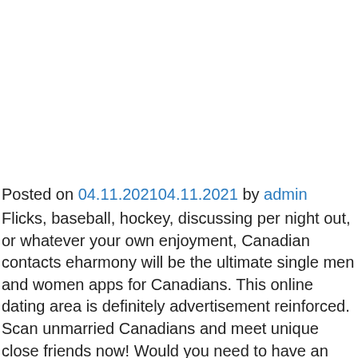Posted on 04.11.202104.11.2021 by admin
Flicks, baseball, hockey, discussing per night out, or whatever your own enjoyment, Canadian contacts eharmony will be the ultimate single men and women apps for Canadians. This online dating area is definitely advertisement reinforced. Scan unmarried Canadians and meet unique close friends now! Would you need to have an enchanting morning without front side with the stunning Niagara lies with an all new internet site? That really sounds like a wonderful means of spending the usa. Were you selecting an app for solitary best